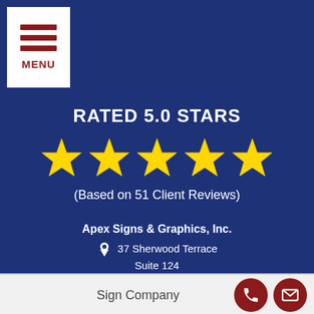[Figure (other): Navigation menu button with three horizontal red lines and MENU label on white background]
RATED 5.0 STARS
[Figure (other): Five gold/yellow star rating icons]
(Based on 51 Client Reviews)
Apex Signs & Graphics, Inc.
37 Sherwood Terrace
Suite 124
Lake Bluff, IL 60044
(847) 453-3283
9am to 5pm Mon-Fri
Sign Company